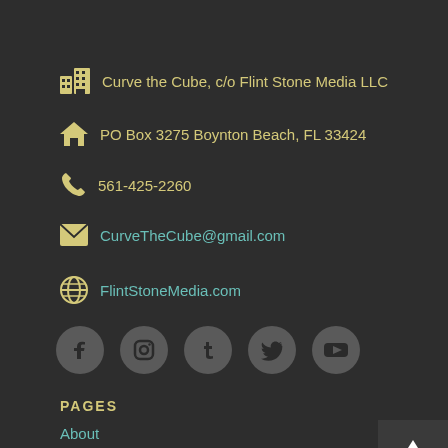Curve the Cube, c/o Flint Stone Media LLC
PO Box 3275 Boynton Beach, FL 33424
561-425-2260
CurveTheCube@gmail.com
FlintStoneMedia.com
[Figure (illustration): Row of 5 social media icon circles: Facebook, Instagram, Tumblr, Twitter, YouTube]
PAGES
About
Contact the Show
How to Listen
The Learning Curve